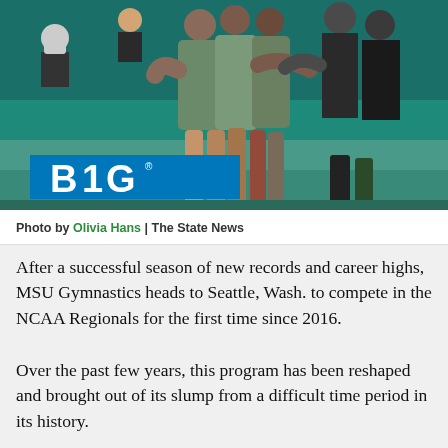[Figure (photo): MSU Gymnastics team members embracing in group hug at Big Ten gymnastics event, with BIG logo visible on banner in background]
Photo by Olivia Hans | The State News
After a successful season of new records and career highs, MSU Gymnastics heads to Seattle, Wash. to compete in the NCAA Regionals for the first time since 2016.
Over the past few years, this program has been reshaped and brought out of its slump from a difficult time period in its history.